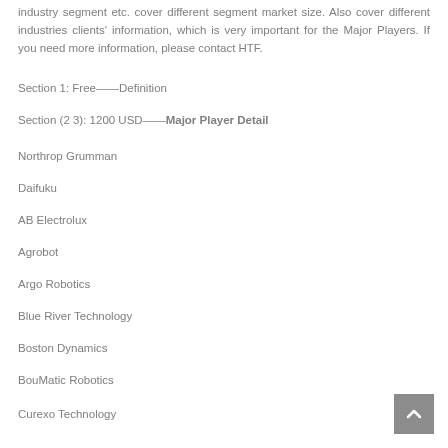industry segment etc. cover different segment market size. Also cover different industries clients' information, which is very important for the Major Players. If you need more information, please contact HTF.
Section 1: Free——Definition
Section (2 3): 1200 USD——Major Player Detail
Northrop Grumman
Daifuku
AB Electrolux
Agrobot
Argo Robotics
Blue River Technology
Boston Dynamics
BouMatic Robotics
Curexo Technology